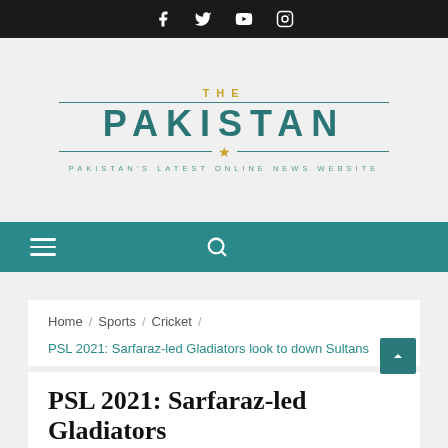Social icons: Facebook, Twitter, YouTube, Instagram
[Figure (logo): The Pakistan - Pakistan's Latest Online News Website logo with teal and gold colors]
Navigation bar with hamburger menu and search icon
Home / Sports / Cricket /
PSL 2021: Sarfaraz-led Gladiators look to down Sultans
PSL 2021: Sarfaraz-led Gladiators